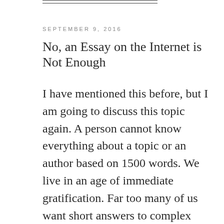SEPTEMBER 9, 2016
No, an Essay on the Internet is Not Enough
I have mentioned this before, but I am going to discuss this topic again. A person cannot know everything about a topic or an author based on 1500 words. We live in an age of immediate gratification. Far too many of us want short answers to complex questions and we make the mistake in thinking …